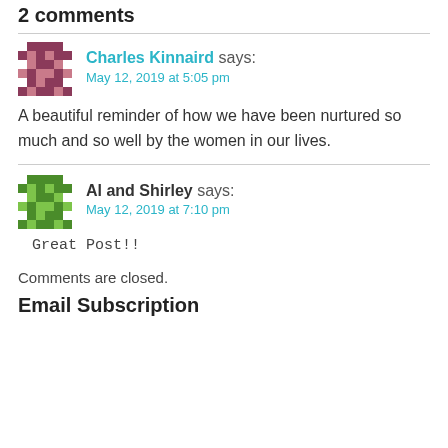2 comments
Charles Kinnaird says:
May 12, 2019 at 5:05 pm
A beautiful reminder of how we have been nurtured so much and so well by the women in our lives.
Al and Shirley says:
May 12, 2019 at 7:10 pm
Great Post!!
Comments are closed.
Email Subscription